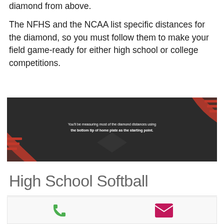diamond from above. The NFHS and the NCAA list specific distances for the diamond, so you must follow them to make your field game-ready for either high school or college competitions.
[Figure (photo): Dark background image of a softball diamond viewed from above with red geometric design elements. Overlay text reads: You'll be measuring most of the diamond distances using the bottom tip of home plate as the starting point.]
High School Softball
[Figure (infographic): Bottom card with phone icon (green) and email/envelope icon (pink/magenta) on a light gray background.]